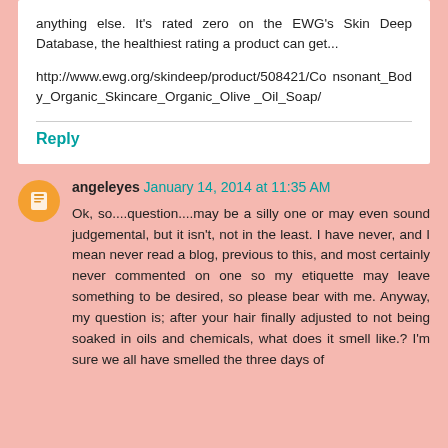anything else. It's rated zero on the EWG's Skin Deep Database, the healthiest rating a product can get...
http://www.ewg.org/skindeep/product/508421/Consonant_Body_Organic_Skincare_Organic_Olive_Oil_Soap/
Reply
angeleyes January 14, 2014 at 11:35 AM
Ok, so....question....may be a silly one or may even sound judgemental, but it isn't, not in the least. I have never, and I mean never read a blog, previous to this, and most certainly never commented on one so my etiquette may leave something to be desired, so please bear with me. Anyway, my question is; after your hair finally adjusted to not being soaked in oils and chemicals, what does it smell like.? I'm sure we all have smelled the three days of